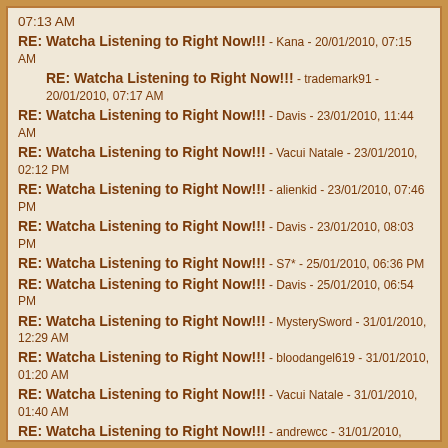07:13 AM
RE: Watcha Listening to Right Now!!! - Kana - 20/01/2010, 07:15 AM
RE: Watcha Listening to Right Now!!! - trademark91 - 20/01/2010, 07:17 AM
RE: Watcha Listening to Right Now!!! - Davis - 23/01/2010, 11:44 AM
RE: Watcha Listening to Right Now!!! - Vacui Natale - 23/01/2010, 02:12 PM
RE: Watcha Listening to Right Now!!! - alienkid - 23/01/2010, 07:46 PM
RE: Watcha Listening to Right Now!!! - Davis - 23/01/2010, 08:03 PM
RE: Watcha Listening to Right Now!!! - S7* - 25/01/2010, 06:36 PM
RE: Watcha Listening to Right Now!!! - Davis - 25/01/2010, 06:54 PM
RE: Watcha Listening to Right Now!!! - MysterySword - 31/01/2010, 12:29 AM
RE: Watcha Listening to Right Now!!! - bloodangel619 - 31/01/2010, 01:20 AM
RE: Watcha Listening to Right Now!!! - Vacui Natale - 31/01/2010, 01:40 AM
RE: Watcha Listening to Right Now!!! - andrewcc - 31/01/2010, 01:28 PM
RE: Watcha Listening to Right Now!!! - Davis - 31/01/2010, 01:32 PM
RE: Watcha Listening to Right Now!!! - theEvilOne - 03/02/2010, 06:43 PM
RE: Watcha Listening to Right Now!!! - YoYoBallz - 04/02/2010, 10:44 AM
RE: Watcha Listening to Right Now!!! - theEvilOne - 04/02/2010, 10:53